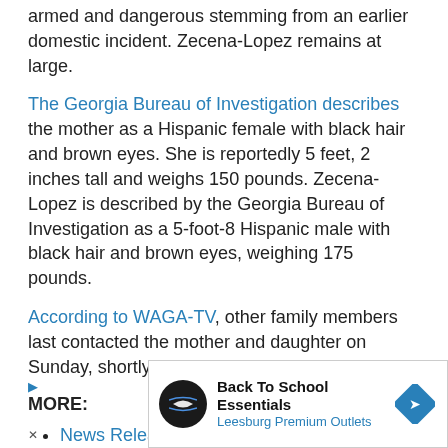armed and dangerous stemming from an earlier domestic incident. Zecena-Lopez remains at large.
The Georgia Bureau of Investigation describes the mother as a Hispanic female with black hair and brown eyes. She is reportedly 5 feet, 2 inches tall and weighs 150 pounds. Zecena-Lopez is described by the Georgia Bureau of Investigation as a 5-foot-8 Hispanic male with black hair and brown eyes, weighing 175 pounds.
According to WAGA-TV, other family members last contacted the mother and daughter on Sunday, shortly after 5 p.m.
MORE:
News Release - Cumming Police Department
News Release - Georgia Bureau of Investigation
An... [link] ...eved to...
[Figure (other): Advertisement overlay for Back To School Essentials at Leesburg Premium Outlets with a play button and close button]